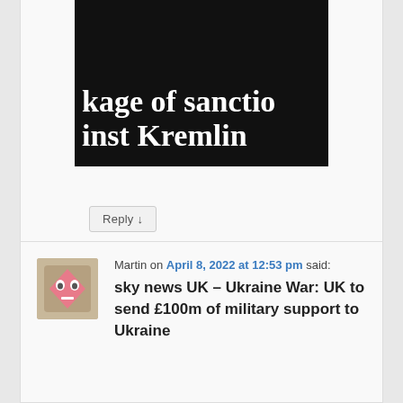[Figure (screenshot): Partial headline image with dark background and white bold serif text reading 'kage of sanctio inst Kremlin']
Reply ↓
Martin on April 8, 2022 at 12:53 pm said:
sky news UK – Ukraine War: UK to send £100m of military support to Ukraine